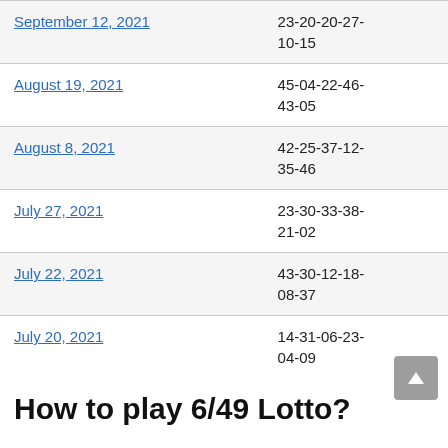| Date | Winning Numbers |
| --- | --- |
| September 12, 2021 | 23-20-20-27-10-15 |
| August 19, 2021 | 45-04-22-46-43-05 |
| August 8, 2021 | 42-25-37-12-35-46 |
| July 27, 2021 | 23-30-33-38-21-02 |
| July 22, 2021 | 43-30-12-18-08-37 |
| July 20, 2021 | 14-31-06-23-04-09 |
How to play 6/49 Lotto?